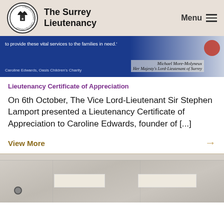The Surrey Lieutenancy
[Figure (photo): Banner image showing a certificate of appreciation with blue background, text about vital services to families, signed by Michael More-Molyneux, Her Majesty's Lord-Lieutenant of Surrey, with a red wax seal]
Lieutenancy Certificate of Appreciation
On 6th October, The Vice Lord-Lieutenant Sir Stephen Lamport presented a Lieutenancy Certificate of Appreciation to Caroline Edwards, founder of [...]
View More →